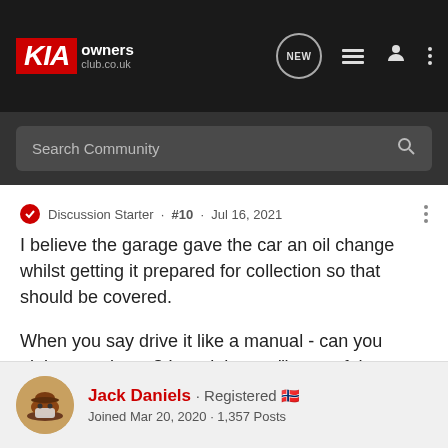KIA owners club.co.uk
Search Community
Discussion Starter · #10 · Jul 16, 2021
I believe the garage gave the car an oil change whilst getting it prepared for collection so that should be covered.

When you say drive it like a manual - can you elaborate please? I read that as "let go of the acceleration when you change gears, and give it a second before putting foot back on the pedal again"?
Jack Daniels · Registered 🇳🇴
Joined Mar 20, 2020 · 1,357 Posts